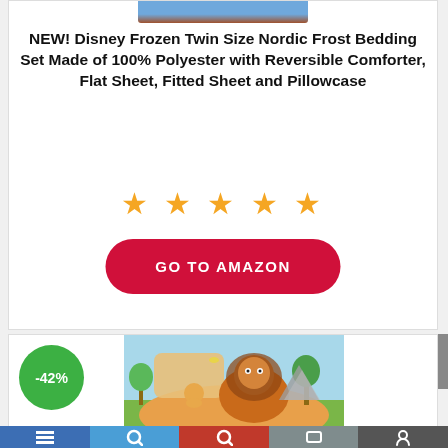[Figure (photo): Partial product photo at top of card showing a blue item (bedding)]
NEW! Disney Frozen Twin Size Nordic Frost Bedding Set Made of 100% Polyester with Reversible Comforter, Flat Sheet, Fitted Sheet and Pillowcase
[Figure (other): Five gold star rating]
GO TO AMAZON
[Figure (photo): Product photo of Lion King themed bedding set with -42% discount badge]